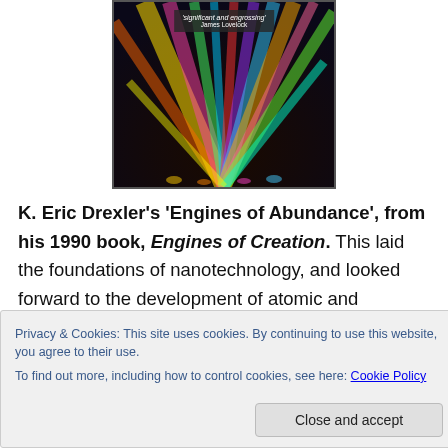[Figure (photo): Book cover for 'Engines of Creation' by K. Eric Drexler, showing colorful light beams against a dark background, with a quote overlay reading 'significant and engrossing' by James Lovelock]
K. Eric Drexler’s ‘Engines of Abundance’, from his 1990 book, Engines of Creation. This laid the foundations of nanotechnology, and looked forward to the development of atomic and molecular machines that could build anything out of anything, so that rocket engines
Privacy & Cookies: This site uses cookies. By continuing to use this website, you agree to their use.
To find out more, including how to control cookies, see here: Cookie Policy